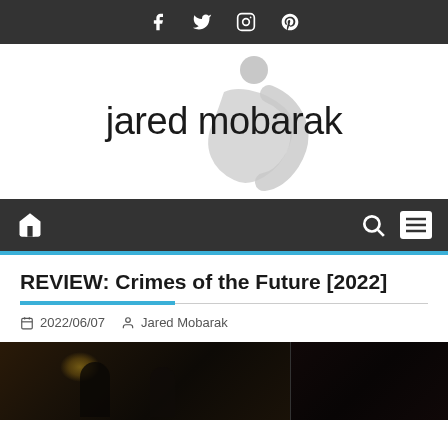Social icons bar: Facebook, Twitter, Instagram, Pinterest
[Figure (logo): jared mobarak logo with stylized 'jm' figure icon in gray above the text]
Navigation bar with home icon, search icon, and menu icon
REVIEW: Crimes of the Future [2022]
2022/06/07  Jared Mobarak
[Figure (photo): Dark film still from Crimes of the Future (2022), showing figures in dim interior lighting]